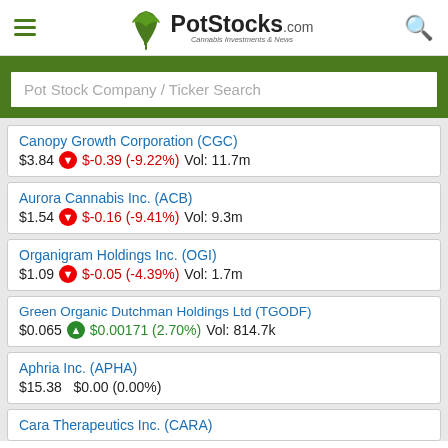PotStocks.com Cannabis Investments & News
Pot Stock Company / Ticker Search
Canopy Growth Corporation (CGC) $3.84 ↓ $-0.39 (-9.22%) Vol: 11.7m
Aurora Cannabis Inc. (ACB) $1.54 ↓ $-0.16 (-9.41%) Vol: 9.3m
Organigram Holdings Inc. (OGI) $1.09 ↓ $-0.05 (-4.39%) Vol: 1.7m
Green Organic Dutchman Holdings Ltd (TGODF) $0.065 ↑ $0.00171 (2.70%) Vol: 814.7k
Aphria Inc. (APHA) $15.38 $0.00 (0.00%)
Cara Therapeutics Inc. (CARA)